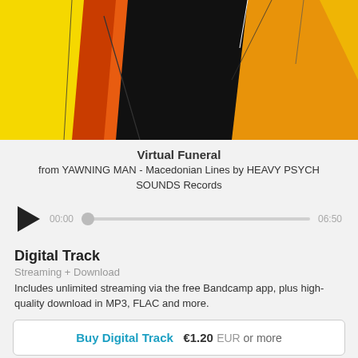[Figure (illustration): Abstract colorful artwork with yellow, orange, red, and black geometric shapes forming a partial figure or bird-like form against a yellow background]
Virtual Funeral
from YAWNING MAN - Macedonian Lines by HEAVY PSYCH SOUNDS Records
[Figure (other): Audio player with play button, time display showing 00:00 and 06:50, and a progress bar with knob]
Digital Track
Streaming + Download
Includes unlimited streaming via the free Bandcamp app, plus high-quality download in MP3, FLAC and more.
Buy Digital Track  €1.20  EUR  or more
Send as Gift